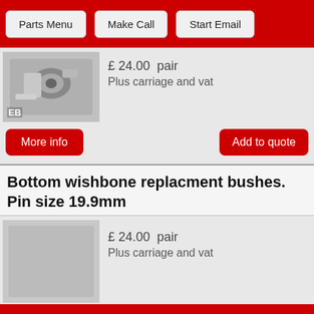Parts Menu | Make Call | Start Email
[Figure (photo): Metal part - wishbone bush component, silver/aluminium colored, with EB label]
£ 24.00  pair
Plus carriage and vat
More info
Add to quote
Bottom wishbone replacment bushes. Pin size 19.9mm
[Figure (photo): Metal part placeholder image - grey background]
£ 24.00  pair
Plus carriage and vat
More info
Add to quote
Bottom wishbone bolt set